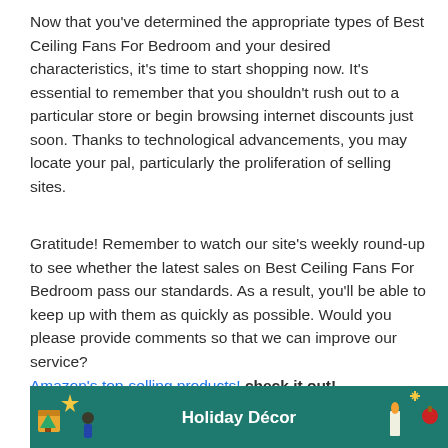Now that you've determined the appropriate types of Best Ceiling Fans For Bedroom and your desired characteristics, it's time to start shopping now. It's essential to remember that you shouldn't rush out to a particular store or begin browsing internet discounts just soon. Thanks to technological advancements, you may locate your pal, particularly the proliferation of selling sites.
Gratitude! Remember to watch our site's weekly round-up to see whether the latest sales on Best Ceiling Fans For Bedroom pass our standards. As a result, you'll be able to keep up with them as quickly as possible. Would you please provide comments so that we can improve our service?
Amazon's top-selling products! check it out!
[Figure (illustration): Holiday Décor banner with teal/green background, decorative holiday illustrations on left and right sides, and 'Holiday Décor' text in white bold font centered.]